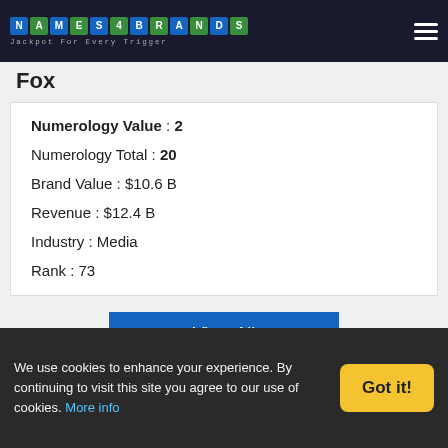NAMES4BRANDS — Jackpot For Every Trigger
Fox
Numerology Value : 2
Numerology Total : 20
Brand Value : $10.6 B
Revenue : $12.4 B
Industry : Media
Rank : 73
View All
View most valuable brands with numerology value 1
We use cookies to enhance your experience. By continuing to visit this site you agree to our use of cookies. More info